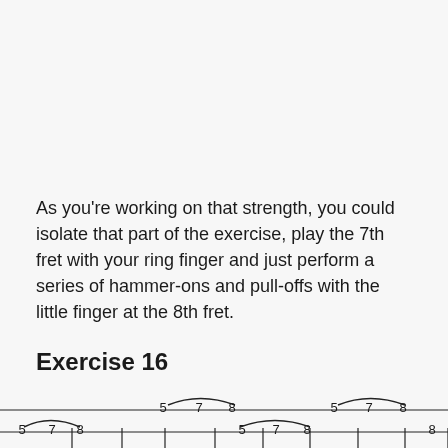As you're working on that strength, you could isolate that part of the exercise, play the 7th fret with your ring finger and just perform a series of hammer-ons and pull-offs with the little finger at the 8th fret.
Exercise 16
[Figure (illustration): Guitar tablature showing two strings with fret numbers. Top string: arc over 5-7-8, then arc over 5-7-8, then 5-7-8, then arc over 5-7-8. Second string: 5-7-8, then arc over 5-7-8, then 5-7-8.]